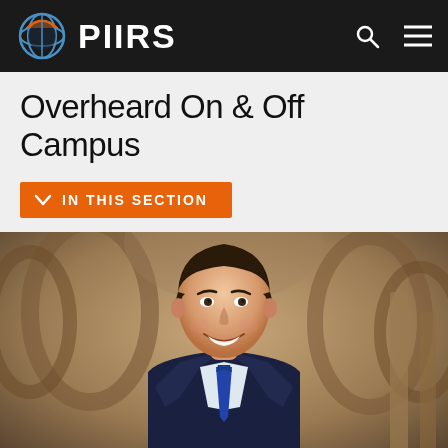PIIRS
Overheard On & Off Campus
IN THIS SECTION
[Figure (photo): Young man in dark suit and blue tie smiling, standing in front of gothic stone archways with blurred background]